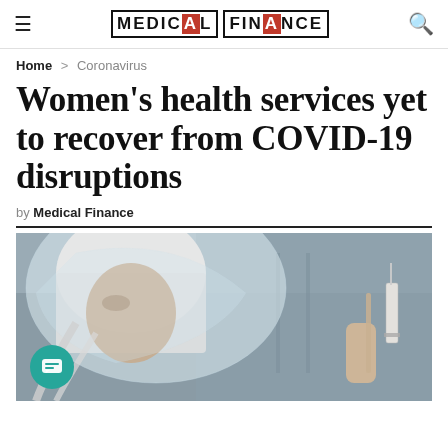MEDICAL FINANCE
Home > Coronavirus
Women's health services yet to recover from COVID-19 disruptions
by Medical Finance
[Figure (photo): A healthcare worker wearing a protective plastic face shield and medical cap holds a syringe/needle, photographed close-up in clinical setting.]